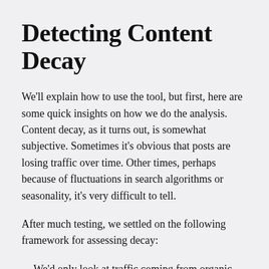Detecting Content Decay
We'll explain how to use the tool, but first, here are some quick insights on how we do the analysis. Content decay, as it turns out, is somewhat subjective. Sometimes it's obvious that posts are losing traffic over time. Other times, perhaps because of fluctuations in search algorithms or seasonality, it's very difficult to tell.
After much testing, we settled on the following framework for assessing decay:
We'd only look at traffic coming from organic